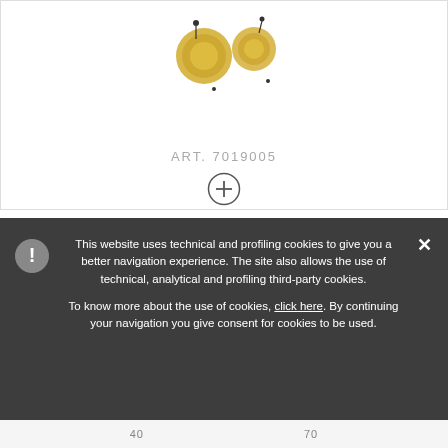[Figure (photo): Gold jewelry items (earrings/rings) displayed on white background inside a product card]
ART. 7019005
This website uses technical and profiling cookies to give you a better navigation experience. The site also allows the use of technical, analytical and profiling third-party cookies. To know more about the use of cookies, click here. By continuing your navigation you give consent for cookies to be used.
[Figure (photo): Partial view of another jewelry product at the bottom of the page, partially obscured by cookie banner]